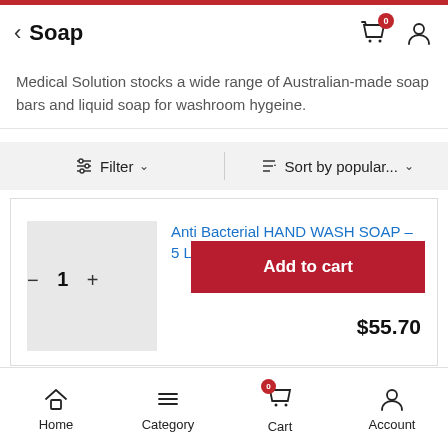Soap
Medical Solution stocks a wide range of Australian-made soap bars and liquid soap for washroom hygeine.
Filter  |  Sort by popular...
Anti Bacterial HAND WASH SOAP – 5 LITRE DRUM
1
Add to cart
$55.70
Home  Category  Cart  Account